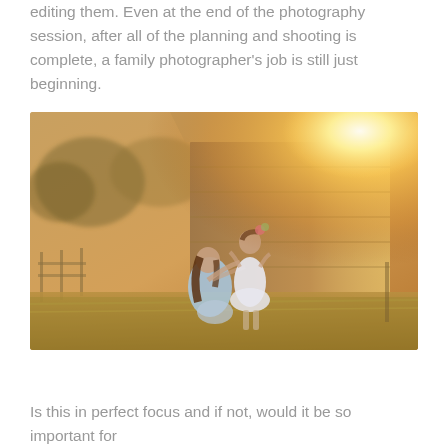editing them. Even at the end of the photography session, after all of the planning and shooting is complete, a family photographer's job is still just beginning.
[Figure (photo): Outdoor golden-hour photo of a woman kneeling in a grassy field, looking up at a young girl in a white dress. A rustic wooden barn and bright sun flare are visible in the background.]
Is this in perfect focus and if not, would it be so important for